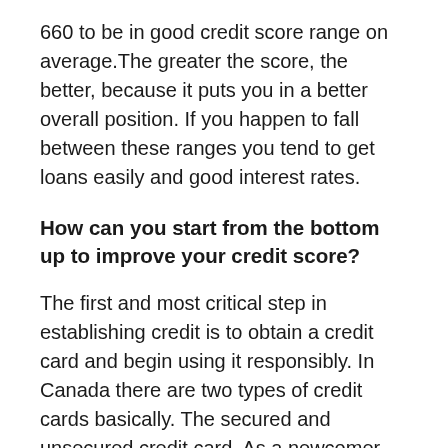660 to be in good credit score range on average.The greater the score, the better, because it puts you in a better overall position. If you happen to fall between these ranges you tend to get loans easily and good interest rates.
How can you start from the bottom up to improve your credit score?
The first and most critical step in establishing credit is to obtain a credit card and begin using it responsibly. In Canada there are two types of credit cards basically. The secured and unsecured credit card. As a newcomer many a times banks do not